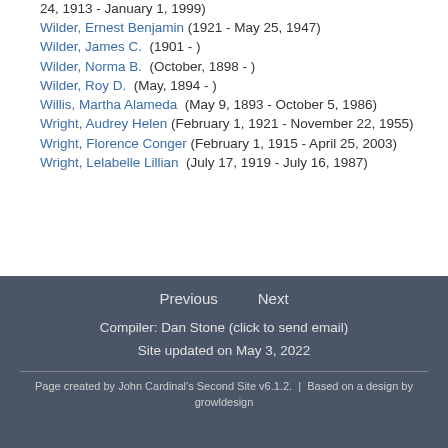24, 1913 - January 1, 1999)
Wilder, Ernest Benjamin (1921 - May 25, 1947)
Wilder, James C. (1901 - )
Wilder, Norma B. (October, 1898 - )
Wilder, Roy D. (May, 1894 - )
Willis, Martha Alameda (May 9, 1893 - October 5, 1986)
Wright, Audrey Helen (February 1, 1921 - November 22, 1955)
Wright, Florence Conger (February 1, 1915 - April 25, 2003)
Wright, Lelabelle Lillian (July 17, 1919 - July 16, 1987)
Previous   Next

Compiler: Dan Stone (click to send email)
Site updated on May 3, 2022

Page created by John Cardinal's Second Site v6.1.2.  |  Based on a design by growldesign